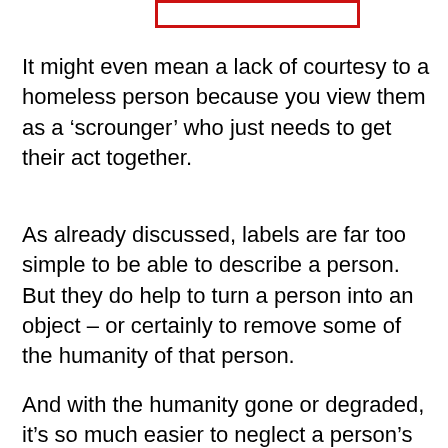[Figure (other): A rectangular box with a red border, partially visible at the top of the page]
It might even mean a lack of courtesy to a homeless person because you view them as a ‘scrounger’ who just needs to get their act together.
As already discussed, labels are far too simple to be able to describe a person. But they do help to turn a person into an object – or certainly to remove some of the humanity of that person.
And with the humanity gone or degraded, it’s so much easier to neglect a person’s feelings or